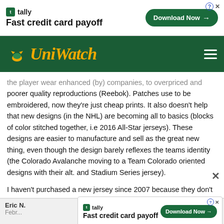[Figure (screenshot): Tally Fast credit card payoff advertisement banner at top]
[Figure (logo): Uni Watch logo on dark green navigation bar]
the player wear enhanced (by) companies, to overpriced and poorer quality reproductions (Reebok). Patches use to be embroidered, now they're just cheap prints. It also doesn't help that new designs (in the NHL) are becoming all to basics (blocks of color stitched together, i.e 2016 All-Star jerseys). These designs are easier to manufacture and sell as the great new thing, even though the design barely reflexes the teams identity (the Colorado Avalanche moving to a Team Colorado oriented designs with their alt. and Stadium Series jersey).
I haven't purchased a new jersey since 2007 because they don't reflect the team's identity and stand more for a cash grab approach to sell to their fan base.
I still wear my old jerseys to the games and take good care of them.
[Figure (screenshot): Tally Fast credit card payoff advertisement banner at bottom]
Eric N.
February...